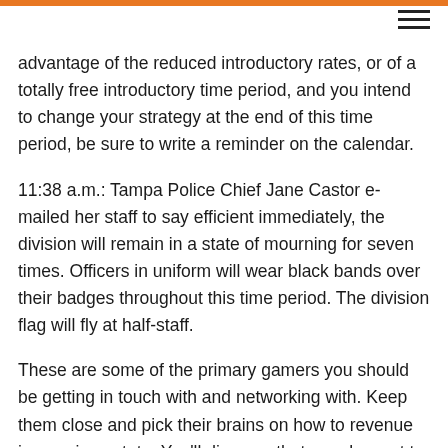advantage of the reduced introductory rates, or of a totally free introductory time period, and you intend to change your strategy at the end of this time period, be sure to write a reminder on the calendar.
11:38 a.m.: Tampa Police Chief Jane Castor e-mailed her staff to say efficient immediately, the division will remain in a state of mourning for seven times. Officers in uniform will wear black bands over their badges throughout this time period. The division flag will fly at half-staff.
These are some of the primary gamers you should be getting in touch with and networking with. Keep them close and pick their brains on how to revenue in genuine estate. You'll discover that people want to assist you. They want you to be successful. Following all if you become successful they will lose...